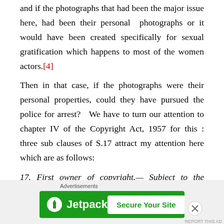and if the photographs that had been the major issue here, had been their personal photographs or it would have been created specifically for sexual gratification which happens to most of the women actors.[4]
Then in that case, if the photographs were their personal properties, could they have pursued the police for arrest?  We have to turn our attention to chapter IV of the Copyright Act, 1957 for this : three sub clauses of S.17 attract my attention here which are as follows:
17. First owner of copyright.— Subject to the provisions of
[Figure (other): Jetpack advertisement banner with green background, Jetpack logo and 'Secure Your Site' button]